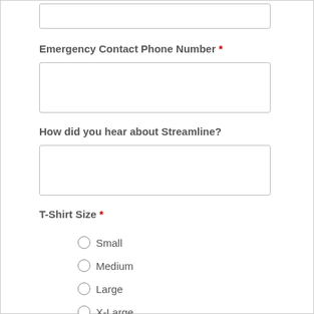Emergency Contact Phone Number *
How did you hear about Streamline?
T-Shirt Size *
Small
Medium
Large
X-Large